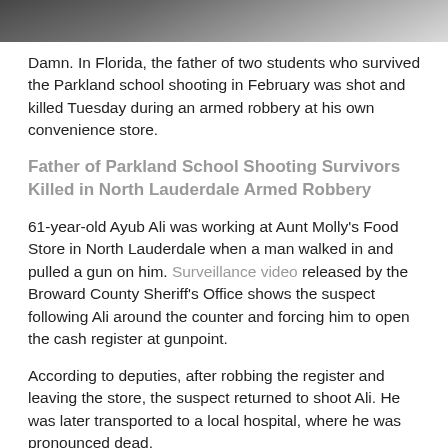[Figure (photo): Top portion of a photograph showing a memorial or scene, partially cropped at the top of the page.]
Damn. In Florida, the father of two students who survived the Parkland school shooting in February was shot and killed Tuesday during an armed robbery at his own convenience store.
Father of Parkland School Shooting Survivors Killed in North Lauderdale Armed Robbery
61-year-old Ayub Ali was working at Aunt Molly’s Food Store in North Lauderdale when a man walked in and pulled a gun on him. Surveillance video released by the Broward County Sheriff’s Office shows the suspect following Ali around the counter and forcing him to open the cash register at gunpoint.
According to deputies, after robbing the register and leaving the store, the suspect returned to shoot Ali. He was later transported to a local hospital, where he was pronounced dead.